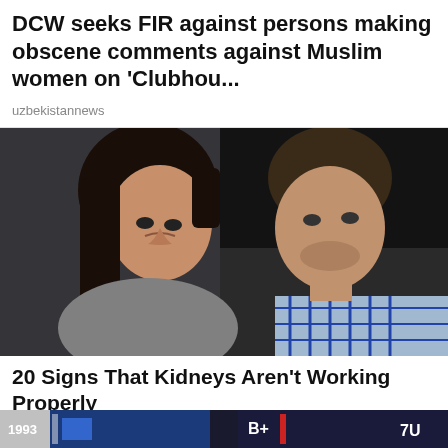DCW seeks FIR against persons making obscene comments against Muslim women on 'Clubhou...
uzbekistannews
[Figure (photo): A woman with dark hair frowning/looking upset, and a man leaning in behind her, indoor dim setting]
20 Signs That Kidneys Aren't Working Properly
anymuscle.com | Sponsored
[Figure (screenshot): Bottom strip showing partial news thumbnails with text fragments]